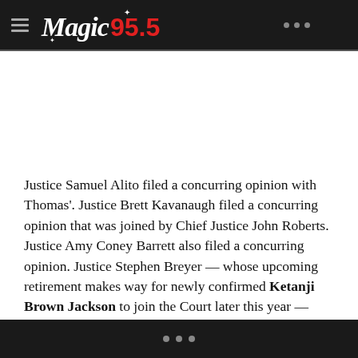Magic 95.5
Justice Samuel Alito filed a concurring opinion with Thomas'. Justice Brett Kavanaugh filed a concurring opinion that was joined by Chief Justice John Roberts. Justice Amy Coney Barrett also filed a concurring opinion. Justice Stephen Breyer — whose upcoming retirement makes way for newly confirmed Ketanji Brown Jackson to join the Court later this year — wrote a dissenting opinion that was joined by the like-minded liberal Justices Sonia Sotomayor and Elena Kagan.
...